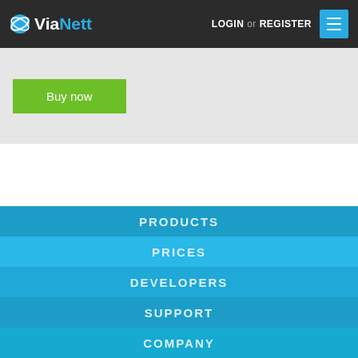ViaNett | LOGIN or REGISTER
Buy now
PRODUCTS
PRICES
DEVELOPERS
SUPPORT
COMPANY
ViaNett AS | Rabekkgata 9 | Box 528 Høyden | 1522 Moss | Norway | Tel. + 47 69 20 69 20 | E-mail: vianett@vianett.com